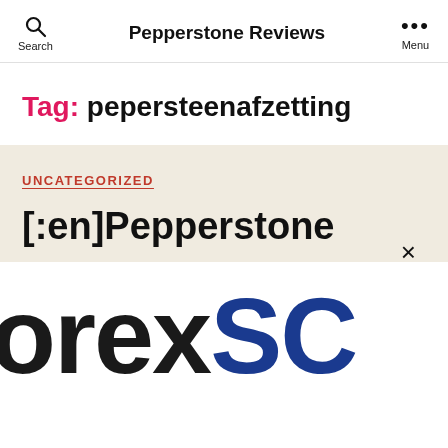Search   Pepperstone Reviews   Menu
Tag: pepersteenafzetting
UNCATEGORIZED
[:en]Pepperstone
[Figure (logo): Partial logo showing 'orexSO' in large bold text, black and dark blue colors, cropped screenshot of a forex broker logo]